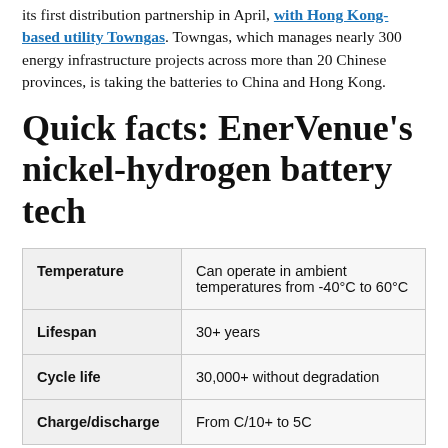its first distribution partnership in April, with Hong Kong-based utility Towngas. Towngas, which manages nearly 300 energy infrastructure projects across more than 20 Chinese provinces, is taking the batteries to China and Hong Kong.
Quick facts: EnerVenue's nickel-hydrogen battery tech
|  |  |
| --- | --- |
| Temperature | Can operate in ambient temperatures from -40°C to 60°C |
| Lifespan | 30+ years |
| Cycle life | 30,000+ without degradation |
| Charge/discharge | From C/10+ to 5C |